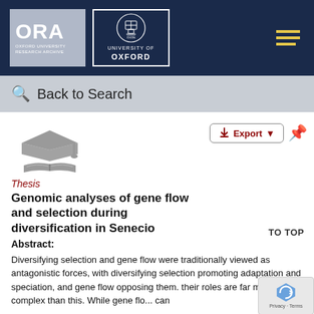[Figure (logo): ORA Oxford University Research Archive and University of Oxford logos on dark navy header bar with hamburger menu icon]
Back to Search
[Figure (illustration): Graduation cap and open book icon in gray]
Thesis
Genomic analyses of gene flow and selection during diversification in Senecio
Abstract:
Diversifying selection and gene flow were traditionally viewed as antagonistic forces, with diversifying selection promoting adaptation and speciation, and gene flow opposing them. their roles are far more complex than this. While gene flo... can